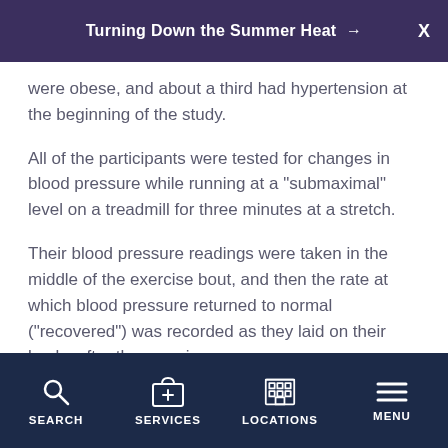Turning Down the Summer Heat →
were obese, and about a third had hypertension at the beginning of the study.
All of the participants were tested for changes in blood pressure while running at a "submaximal" level on a treadmill for three minutes at a stretch.
Their blood pressure readings were taken in the middle of the exercise bout, and then the rate at which blood pressure returned to normal ("recovered") was recorded as they laid on their backs after the exercise.
Higher blood pressure during exercise was linked with
SEARCH   SERVICES   LOCATIONS   MENU